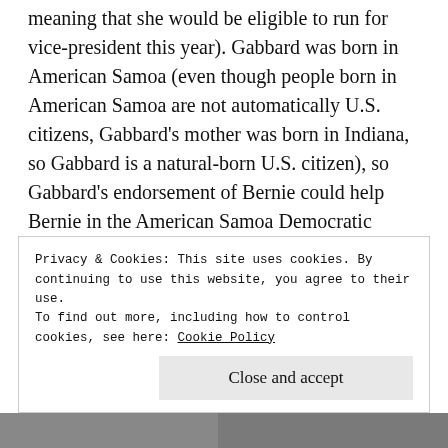meaning that she would be eligible to run for vice-president this year). Gabbard was born in American Samoa (even though people born in American Samoa are not automatically U.S. citizens, Gabbard's mother was born in Indiana, so Gabbard is a natural-born U.S. citizen), so Gabbard's endorsement of Bernie could help Bernie in the American Samoa Democratic territorial caucuses on Super Tuesday.
I would argue that Bernie should go ahead and pick Tulsi as a running mate (although doing so would be conditional on Bernie being nominated by Democrats
Privacy & Cookies: This site uses cookies. By continuing to use this website, you agree to their use.
To find out more, including how to control cookies, see here: Cookie Policy
Close and accept
[Figure (photo): Partial photo strip visible at the bottom of the page, showing a dark/grey image partially cut off]